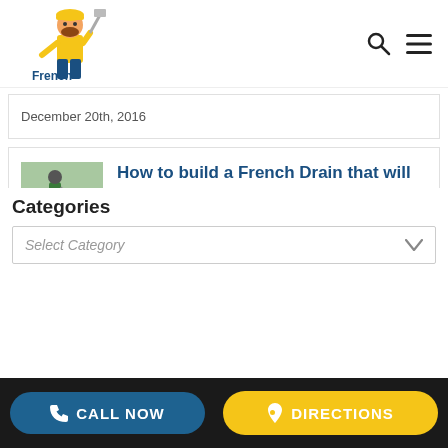[Figure (logo): French Drain Man logo with cartoon plumber character and yellow/blue color scheme]
December 20th, 2016
How to build a French Drain that will last for decades
January 5th, 2017
Categories
Select Category
CALL NOW   DIRECTIONS